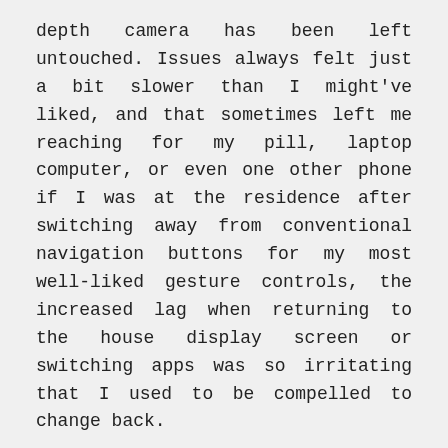depth camera has been left untouched. Issues always felt just a bit slower than I might've liked, and that sometimes left me reaching for my pill, laptop computer, or even one other phone if I was at the residence after switching away from conventional navigation buttons for my most well-liked gesture controls, the increased lag when returning to the house display screen or switching apps was so irritating that I used to be compelled to change back.

As a substitute for a low-finish Snapdragon processor or one in all its Exynos chips, Samsung has opted to power the samsung a12 with Mediatek's Helio P35. It's a cellphone of compromises, however, one which makes all of the bad choices when chopping corners. Even the